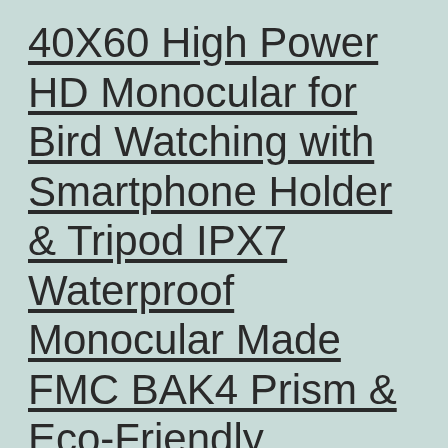40X60 High Power HD Monocular for Bird Watching with Smartphone Holder & Tripod IPX7 Waterproof Monocular Made FMC BAK4 Prism & Eco-Friendly Materials
Price: [price_with_discount](as of [price_update_date] – Details) [ad_1] Product